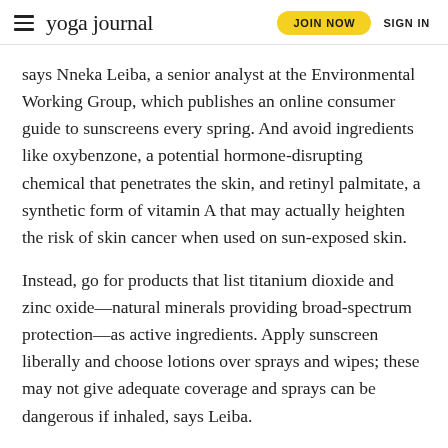yoga journal | JOIN NOW | SIGN IN
says Nneka Leiba, a senior analyst at the Environmental Working Group, which publishes an online consumer guide to sunscreens every spring. And avoid ingredients like oxybenzone, a potential hormone-disrupting chemical that penetrates the skin, and retinyl palmitate, a synthetic form of vitamin A that may actually heighten the risk of skin cancer when used on sun-exposed skin.
Instead, go for products that list titanium dioxide and zinc oxide—natural minerals providing broad-spectrum protection—as active ingredients. Apply sunscreen liberally and choose lotions over sprays and wipes; these may not give adequate coverage and sprays can be dangerous if inhaled, says Leiba.
See also Under Your Skin